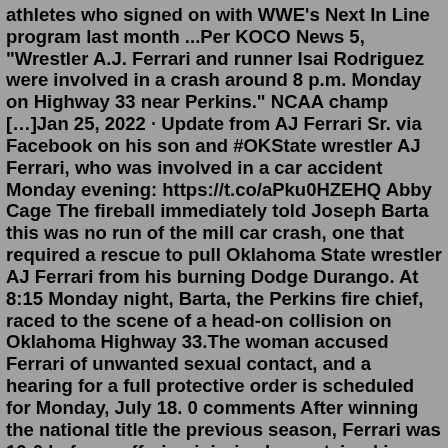athletes who signed on with WWE's Next In Line program last month ...Per KOCO News 5, "Wrestler A.J. Ferrari and runner Isai Rodriguez were involved in a crash around 8 p.m. Monday on Highway 33 near Perkins." NCAA champ […]Jan 25, 2022 · Update from AJ Ferrari Sr. via Facebook on his son and #OKState wrestler AJ Ferrari, who was involved in a car accident Monday evening: https://t.co/aPku0HZEHQ Abby Cage The fireball immediately told Joseph Barta this was no run of the mill car crash, one that required a rescue to pull Oklahoma State wrestler AJ Ferrari from his burning Dodge Durango. At 8:15 Monday night, Barta, the Perkins fire chief, raced to the scene of a head-on collision on Oklahoma Highway 33.The woman accused Ferrari of unwanted sexual contact, and a hearing for a full protective order is scheduled for Monday, July 18. 0 comments After winning the national title the previous season, Ferrari was 10-0 before suffering injuries he sustained in a car accident in January.Jul 14, 2022 · Originally from Allen, Texas,